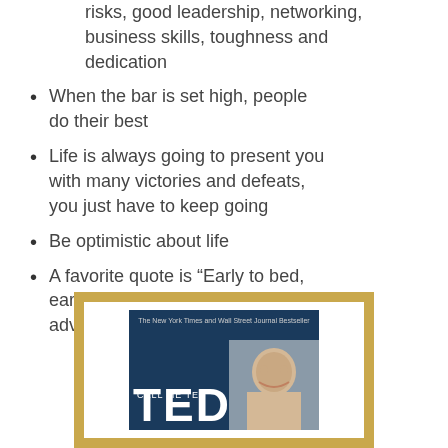risks, good leadership, networking, business skills, toughness and dedication
When the bar is set high, people do their best
Life is always going to present you with many victories and defeats, you just have to keep going
Be optimistic about life
A favorite quote is “Early to bed, early to rise, work like hell and advertise”
[Figure (photo): Book cover of 'Call Me Ted' showing a man's face and bold white TED text on a dark navy background, framed with a gold border]